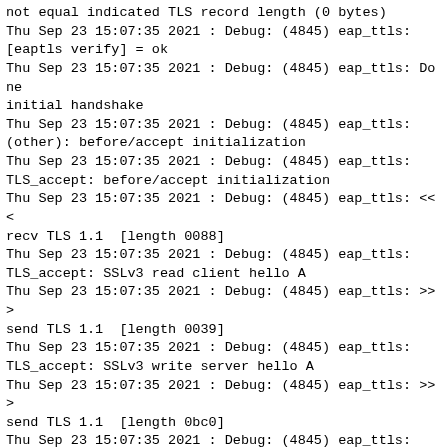not equal indicated TLS record length (0 bytes)
Thu Sep 23 15:07:35 2021 : Debug: (4845) eap_ttls:
[eaptls verify] = ok
Thu Sep 23 15:07:35 2021 : Debug: (4845) eap_ttls: Done
initial handshake
Thu Sep 23 15:07:35 2021 : Debug: (4845) eap_ttls:
(other): before/accept initialization
Thu Sep 23 15:07:35 2021 : Debug: (4845) eap_ttls:
TLS_accept: before/accept initialization
Thu Sep 23 15:07:35 2021 : Debug: (4845) eap_ttls: <<<
recv TLS 1.1  [length 0088]
Thu Sep 23 15:07:35 2021 : Debug: (4845) eap_ttls:
TLS_accept: SSLv3 read client hello A
Thu Sep 23 15:07:35 2021 : Debug: (4845) eap_ttls: >>>
send TLS 1.1  [length 0039]
Thu Sep 23 15:07:35 2021 : Debug: (4845) eap_ttls:
TLS_accept: SSLv3 write server hello A
Thu Sep 23 15:07:35 2021 : Debug: (4845) eap_ttls: >>>
send TLS 1.1  [length 0bc0]
Thu Sep 23 15:07:35 2021 : Debug: (4845) eap_ttls:
TLS_accept: SSLv3 write certificate A
Thu Sep 23 15:07:35 2021 : Debug: (4845) eap_ttls: >>>
send TLS 1.1  [length 014b]
Thu Sep 23 15:07:35 2021 : Debug: (4845) eap_ttls:
TLS_accept: SSLv3 write key exchange A
Thu Sep 23 15:07:35 2021 : Debug: (4845) eap_ttls: >>>
send TLS 1.1  [length 0004]
Thu Sep 23 15:07:35 2021 : Debug: (4845) eap_ttls:
TLS_accept: SSLv3 write server done A
Thu Sep 23 15:07:35 2021 : Debug: (4845) eap_ttls:
TLS_accept: SSLv3 flush data